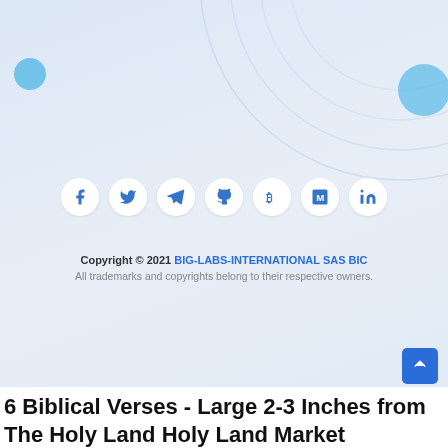[Figure (illustration): Decorative background with concentric arcs in top-right corner and two teal/blue filled circles: one small on the left (~top 58px) and one larger on the right (~top 70px right edge). Light blue gradient background.]
[Figure (infographic): Row of 7 social media icon buttons (white circles): Facebook (f), Twitter (bird), Telegram (paper plane), GitHub (octocat), Bitcoin (B), Medium (M), LinkedIn (in). All icons in blue on white circular backgrounds.]
Copyright © 2021 BIG-LABS-INTERNATIONAL SAS BIC
All trademarks and copyrights belong to their respective owners.
6 Biblical Verses - Large 2-3 Inches from The Holy Land Holy Land Market